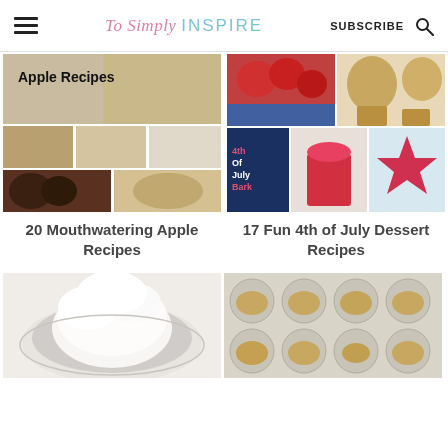To Simply INSPIRE | SUBSCRIBE
[Figure (photo): Collage of apple recipe photos with text 'Apple Recipes' overlay]
[Figure (photo): Collage of 4th of July food photos including strawberries, muffins, bark, cookies, and desserts]
20 Mouthwatering Apple Recipes
17 Fun 4th of July Dessert Recipes
[Figure (photo): Close-up of white fluffy frosting or cream on a decorative plate]
[Figure (photo): Muffin tin with cookie dough or pastry filling in cups]